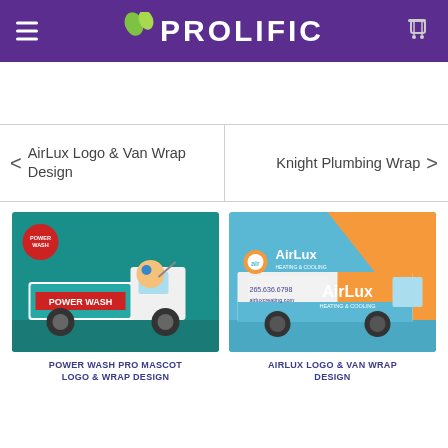PROLIFIC
< AirLux Logo & Van Wrap Design
Knight Plumbing Wrap >
[Figure (photo): Power Wash Pro truck wrap design mockup on a pickup truck with teal background and mascot character]
POWER WASH PRO MASCOT LOGO & WRAP DESIGN
[Figure (photo): AirLux Heating & Cooling van wrap design mockup with orange, blue and white color scheme]
AIRLUX LOGO & VAN WRAP DESIGN